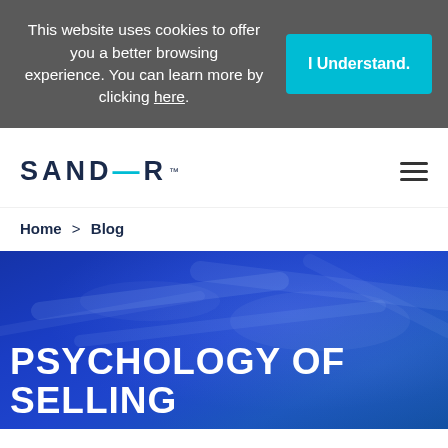This website uses cookies to offer you a better browsing experience. You can learn more by clicking here.
I Understand.
[Figure (logo): Sandler logo — wordmark in dark navy with cyan dash accent and trademark symbol]
Home > Blog
PSYCHOLOGY OF SELLING